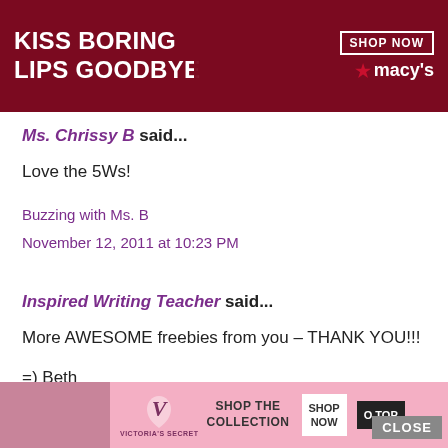[Figure (photo): Macy's advertisement banner with red background showing woman's face with red lipstick, text 'KISS BORING LIPS GOODBYE' and 'SHOP NOW' button with Macy's star logo]
Ms. Chrissy B said...
Love the 5Ws!
Buzzing with Ms. B
November 12, 2011 at 10:23 PM
Inspired Writing Teacher said...
More AWESOME freebies from you - THANK YOU!!!
=) Beth
January 1, 2012 at 2:41 PM
[Figure (photo): Victoria's Secret advertisement banner with pink background, model with curly hair, VS logo, 'SHOP THE COLLECTION' text, 'SHOP NOW' button, and 'TO TOP' button. 'CLOSE' button visible above.]